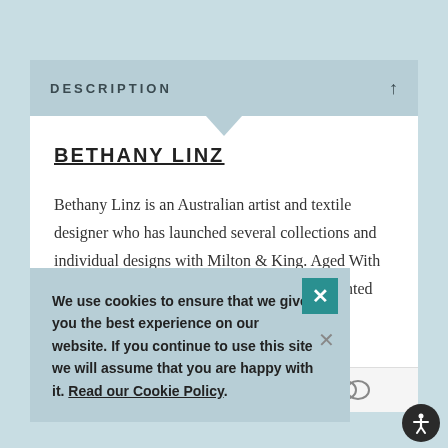DESCRIPTION
BETHANY LINZ
Bethany Linz is an Australian artist and textile designer who has launched several collections and individual designs with Milton & King. Aged With Grace is a collection inspired by old hand-painted murals. Hence, ...eem to grow even ...thetic is tropical ...first kids ...ional wallpaper ...allpaper. Both of ...rics concern time.
We use cookies to ensure that we give you the best experience on our website. If you continue to use this site we will assume that you are happy with it. Read our Cookie Policy.
WE'RE READY TO HELP